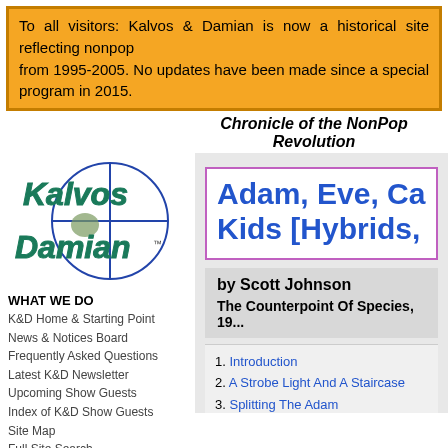To all visitors: Kalvos & Damian is now a historical site reflecting nonpop from 1995-2005. No updates have been made since a special program in 2015.
Chronicle of the NonPop Revolution
[Figure (logo): Kalvos & Damian logo with crosshair/target symbol and stylized text in teal/dark green, marked TM]
WHAT WE DO
K&D Home & Starting Point
News & Notices Board
Frequently Asked Questions
Latest K&D Newsletter
Upcoming Show Guests
Index of K&D Show Guests
Site Map
Full Site Search
MUSIC & FEATURES
Broadcast Audio Archive
ASCAP Deems Taylor Award
9/11 Musical Gallery
Ought-One Festival 2001
Adam, Eve, Ca... Kids [Hybrids,...
by Scott Johnson
The Counterpoint Of Species, 19...
1. Introduction
2. A Strobe Light And A Staircase
3. Splitting The Adam